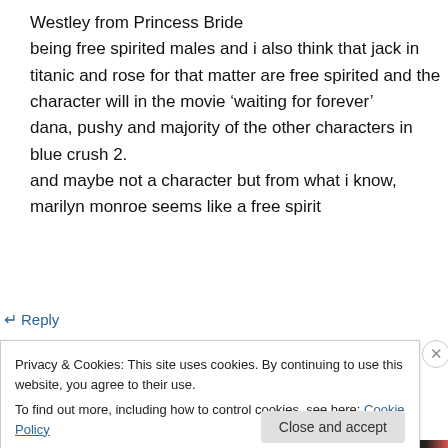Westley from Princess Bride being free spirited males and i also think that jack in titanic and rose for that matter are free spirited and the character will in the movie ‘waiting for forever’ dana, pushy and majority of the other characters in blue crush 2. and maybe not a character but from what i know, marilyn monroe seems like a free spirit
↵ Reply
Privacy & Cookies: This site uses cookies. By continuing to use this website, you agree to their use.
To find out more, including how to control cookies, see here: Cookie Policy
Close and accept